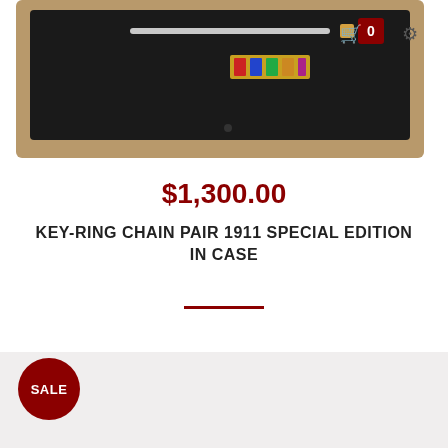[Figure (photo): Product photo showing a wooden display case with black interior containing jewelry items including a key-ring chain pair special edition set]
$1,300.00
KEY-RING CHAIN PAIR 1911 SPECIAL EDITION IN CASE
[Figure (photo): Bottom portion of a product listing page showing a light gray background with a red SALE badge circle in the lower left corner]